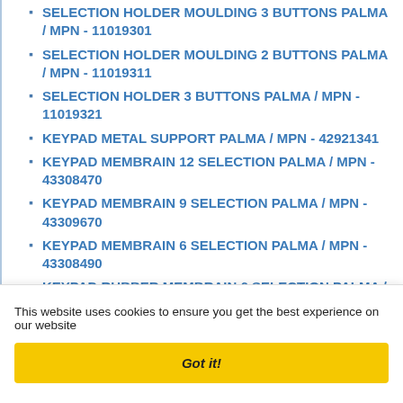SELECTION HOLDER MOULDING 3 BUTTONS PALMA / MPN - 11019301
SELECTION HOLDER MOULDING 2 BUTTONS PALMA / MPN - 11019311
SELECTION HOLDER 3 BUTTONS PALMA / MPN - 11019321
KEYPAD METAL SUPPORT PALMA / MPN - 42921341
KEYPAD MEMBRAIN 12 SELECTION PALMA / MPN - 43308470
KEYPAD MEMBRAIN 9 SELECTION PALMA / MPN - 43309670
KEYPAD MEMBRAIN 6 SELECTION PALMA / MPN - 43308490
KEYPAD RUBBER MEMBRAIN 6 SELECTION PALMA / MPN - 11019421
This website uses cookies to ensure you get the best experience on our website
Got it!